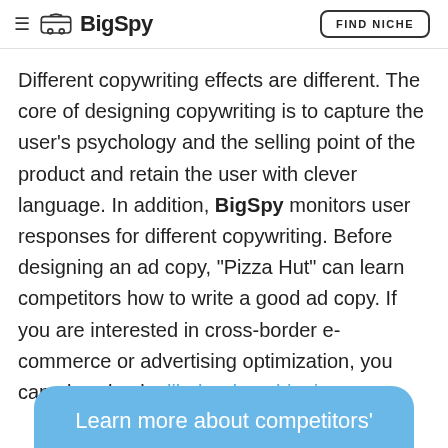BigSpy | FIND NICHE
Different copywriting effects are different. The core of designing copywriting is to capture the user's psychology and the selling point of the product and retain the user with clever language. In addition, BigSpy monitors user responses for different copywriting. Before designing an ad copy, "Pizza Hut" can learn competitors how to write a good ad copy. If you are interested in cross-border e-commerce or advertising optimization, you can also check alibaba dropshipping.
Learn more about competitors'